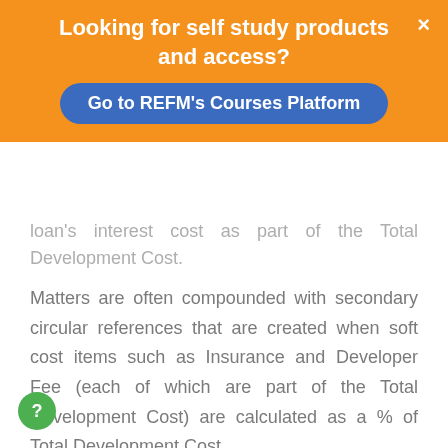[Figure (screenshot): Orange promotional banner overlay with text 'Looking for self study products and access?' and a blue button 'Go to REFM's Courses Platform' with a close X button]
loan's interest cost as part of the Total Development Cost.
Matters are often compounded with secondary circular references that are created when soft cost items such as Insurance and Developer Fee (each of which are part of the Total Development Cost) are calculated as a % of Total Development Cost.
Here's one way to avoid allowing circular references: